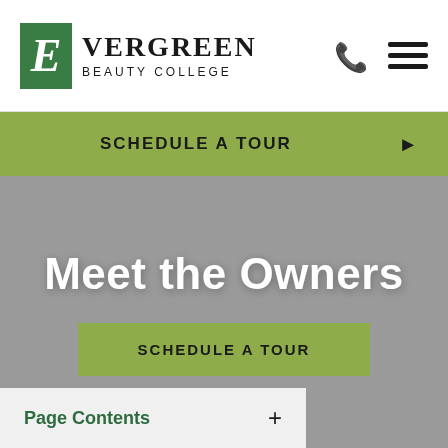EVERGREEN BEAUTY COLLEGE
SCHEDULE A TOUR
Meet the Owners
SCHEDULE A TOUR
Page Contents +